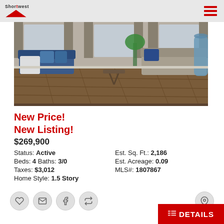Shorewest
[Figure (photo): Interior photo of a modern living room with hardwood floors, blue sofa with blue pillows, beige sofa, plants, and a large blue glass vase]
New Price!
New Listing!
$269,900
Status: Active   Est. Sq. Ft.: 2,186
Beds: 4 Baths: 3/0   Est. Acreage: 0.09
Taxes: $3,012   MLS#: 1807867
Home Style: 1.5 Story